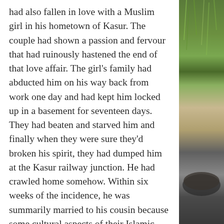had also fallen in love with a Muslim girl in his hometown of Kasur. The couple had shown a passion and fervour that had ruinously hastened the end of that love affair. The girl's family had abducted him on his way back from work one day and had kept him locked up in a basement for seventeen days. They had beaten and starved him and finally when they were sure they'd broken his spirit, they had dumped him at the Kasur railway junction. He had crawled home somehow. Within six weeks of the incidence, he was summarily married to his cousin because some cultural aspects of their Islamic republic just made sense when choices were few and scandals needed to be subdued, conciliated. And the rest, as they say is history. Yousuf Shergill's father had dutifully passed on that dread to his son who grew up requisitely wary, nervous and chafing.
[Figure (photo): A narrow vertical strip showing green grass/plants and what appears to be a dark bowl or plate, serving as a decorative side image.]